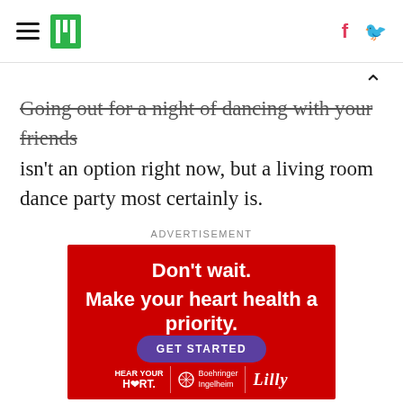HuffPost navigation header with hamburger menu, logo, Facebook and Twitter icons
Going out for a night of dancing with your friends isn't an option right now, but a living room dance party most certainly is.
ADVERTISEMENT
[Figure (other): Red advertisement banner: 'Don't wait. Make your heart health a priority.' with 'GET STARTED' button and logos for Hear Your Heart, Boehringer Ingelheim, and Lilly]